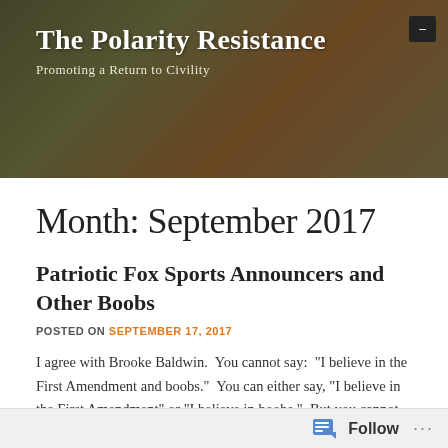The Polarity Resistance
Promoting a Return to Civility
Month: September 2017
Patriotic Fox Sports Announcers and Other Boobs
POSTED ON SEPTEMBER 17, 2017
I agree with Brooke Baldwin.  You cannot say:  "I believe in the First Amendment and boobs."  You can either say, "I believe in the First Amendment" or "I believe in boobs."  But you cannot use both in the same sentence.  It also would be improper to say:  "I believe in First Amendment boobs" (regardless of how patriotic you think you might be sounding).  However, if you voted for one, then saying, "I believe in political boobs" would be perfectly acceptable. And that thought...
Follow